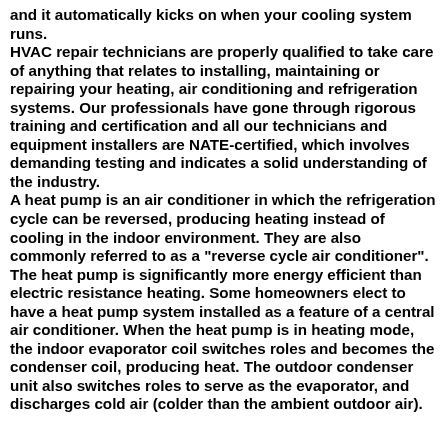and it automatically kicks on when your cooling system runs. HVAC repair technicians are properly qualified to take care of anything that relates to installing, maintaining or repairing your heating, air conditioning and refrigeration systems. Our professionals have gone through rigorous training and certification and all our technicians and equipment installers are NATE-certified, which involves demanding testing and indicates a solid understanding of the industry. A heat pump is an air conditioner in which the refrigeration cycle can be reversed, producing heating instead of cooling in the indoor environment. They are also commonly referred to as a "reverse cycle air conditioner". The heat pump is significantly more energy efficient than electric resistance heating. Some homeowners elect to have a heat pump system installed as a feature of a central air conditioner. When the heat pump is in heating mode, the indoor evaporator coil switches roles and becomes the condenser coil, producing heat. The outdoor condenser unit also switches roles to serve as the evaporator, and discharges cold air (colder than the ambient outdoor air).